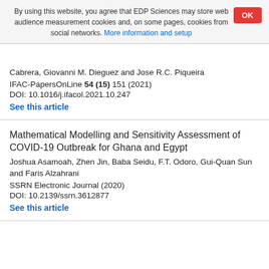By using this website, you agree that EDP Sciences may store web audience measurement cookies and, on some pages, cookies from social networks. More information and setup
Cabrera, Giovanni M. Dieguez and Jose R.C. Piqueira
IFAC-PapersOnLine 54 (15) 151 (2021)
DOI: 10.1016/j.ifacol.2021.10.247
See this article
Mathematical Modelling and Sensitivity Assessment of COVID-19 Outbreak for Ghana and Egypt
Joshua Asamoah, Zhen Jin, Baba Seidu, F.T. Odoro, Gui-Quan Sun and Faris Alzahrani
SSRN Electronic Journal (2020)
DOI: 10.2139/ssrn.3612877
See this article